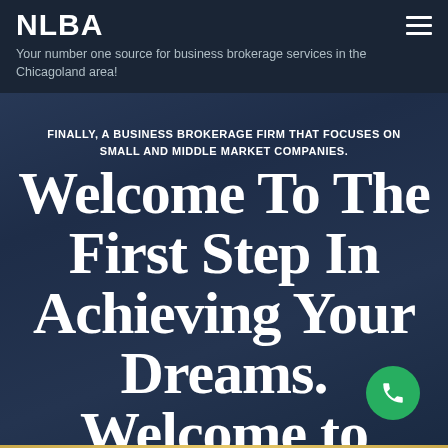NLBA
Your number one source for business brokerage services in the Chicagoland area!
FINALLY, A BUSINESS BROKERAGE FIRM THAT FOCUSES ON SMALL AND MIDDLE MARKET COMPANIES.
Welcome To The First Step In Achieving Your Dreams. Welcome to Next Level Business Advisors.
[Figure (illustration): Green circular phone/call button in bottom right corner]